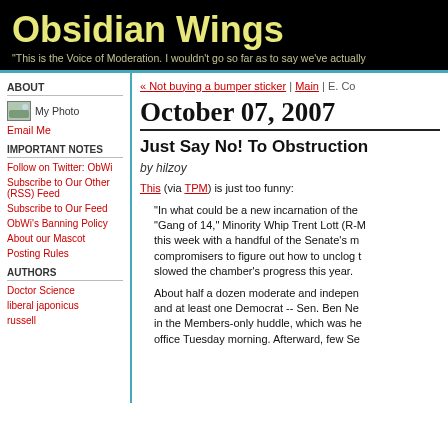Obsidian Wings
"This is the Voice of Moderation. I wouldn't go so far as to say we've actually
ABOUT
[Figure (photo): Small photo placeholder labeled My Photo]
Email Me
IMPORTANT NOTES
Follow on Twitter: ObWi
Subscribe to Our Other (RSS) Feed
Subscribe to Our Feed
ObWi's Banning Policy
About our Mascot
Posting Rules
AUTHORS
Doctor Science
liberal japonicus
russell
« Not buying a bumper sticker | Main | E. Co
October 07, 2007
Just Say No! To Obstruction
by hilzoy
This (via TPM) is just too funny:
"In what could be a new incarnation of the "Gang of 14," Minority Whip Trent Lott (R-M this week with a handful of the Senate's m compromisers to figure out how to unclog t slowed the chamber's progress this year.
About half a dozen moderate and indepen and at least one Democrat -- Sen. Ben Ne in the Members-only huddle, which was he office Tuesday morning. Afterward, few Se